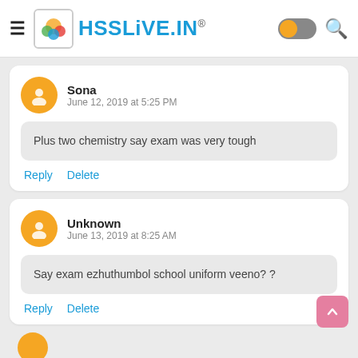HSSLiVE.IN®
Sona
June 12, 2019 at 5:25 PM
Plus two chemistry say exam was very tough
Reply   Delete
Unknown
June 13, 2019 at 8:25 AM
Say exam ezhuthumbol school uniform veeno? ?
Reply   Delete